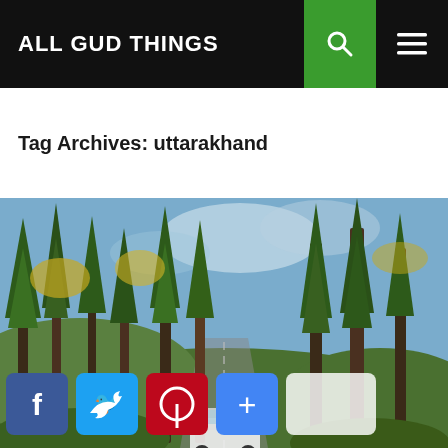ALL GUD THINGS
Tag Archives: uttarakhand
[Figure (photo): A forest road scene with tall trees, green and autumn foliage, with a vehicle partially visible at the bottom. Social media share buttons (Facebook, Twitter, Pinterest, Plus, Share) overlaid at the bottom.]